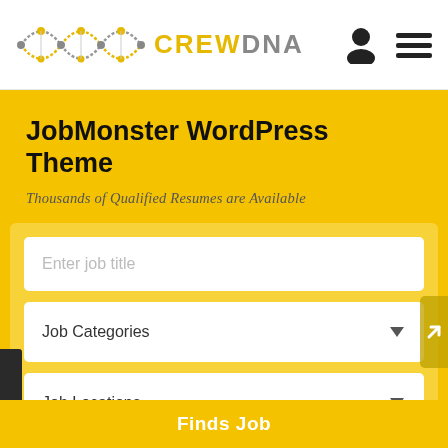[Figure (logo): CrewDNA logo with DNA double helix in grey and yellow dots, followed by CREW in yellow and DNA in grey text]
JobMonster WordPress Theme
Thousands of Qualified Resumes are Available
[Figure (screenshot): Job search form with Enter job title text input, Job Categories dropdown, Job Locations dropdown]
Finds Job